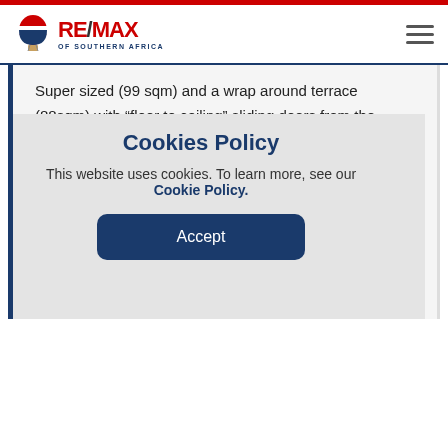RE/MAX OF SOUTHERN AFRICA
Super sized (99 sqm) and a wrap around terrace (88sqm) with “floor to ceiling” sliding doors from the living/lounge and open plan kitchen.
Each unit has a separate geyser with a heat pump.
High speed optic fibre internet, aircon/heating
Cookies Policy
This website uses cookies. To learn more, see our Cookie Policy.
Accept